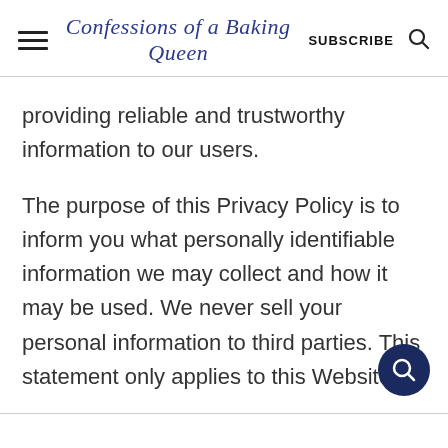Confessions of a Baking Queen  SUBSCRIBE
providing reliable and trustworthy information to our users.
The purpose of this Privacy Policy is to inform you what personally identifiable information we may collect and how it may be used. We never sell your personal information to third parties. This statement only applies to this Website.